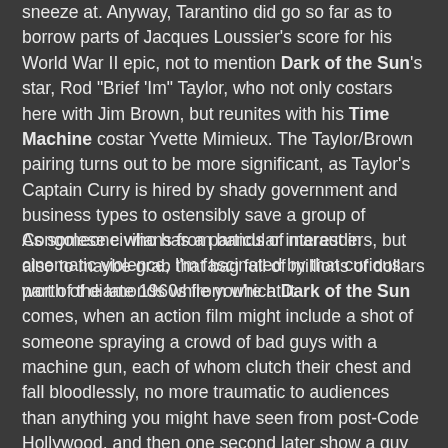sneeze at. Anyway, Tarantino did go so far as to borrow parts of Jacques Loussier's score for his World War II epic, not to mention Dark of the Sun's star, Rod "Brief 'Im" Taylor, who not only costars here with Jim Brown, but reunites with his Time Machine costar Yvette Mimieux. The Taylor/Brown pairing turns out to be more significant, as Taylor's Captain Curry is hired by shady government and business types to ostensibly save a group of Congolese civilians from bands of marauders, but also to maybe grab that bag full of millions of dollars worth of diamonds while you're at it.
As someone who has a particular interest in cinematic violence, I'm fascinated by that curious part of the late 1960s from which Dark of the Sun comes, when an action film might include a shot of someone spraying a crowd of bad guys with a machine gun, each of whom clutch their chest and fall bloodlessly, no more traumatic to audiences than anything you might have seen from post-Code Hollywood, and then one second later show a guy getting stabbed in the face with a burning torch. If the violence in this film settles into anything, it settles into brutality, as was becoming the style at the time. Along with that, of course, must come the